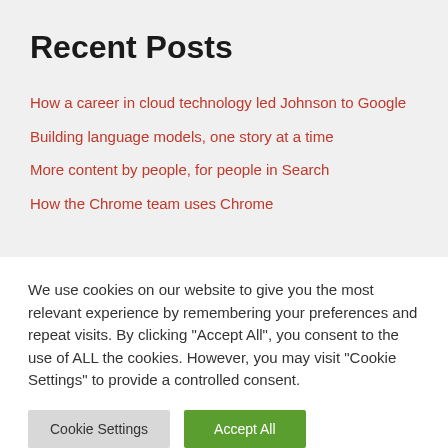Recent Posts
How a career in cloud technology led Johnson to Google
Building language models, one story at a time
More content by people, for people in Search
How the Chrome team uses Chrome
We use cookies on our website to give you the most relevant experience by remembering your preferences and repeat visits. By clicking "Accept All", you consent to the use of ALL the cookies. However, you may visit "Cookie Settings" to provide a controlled consent.
Cookie Settings | Accept All